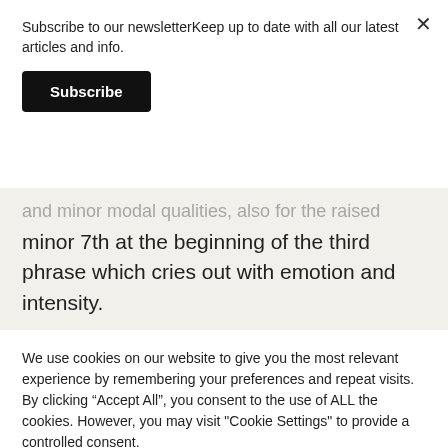Subscribe to our newsletterKeep up to date with all our latest articles and info.
Subscribe
and minor modal qualities, also for the raised minor 7th at the beginning of the third phrase which cries out with emotion and intensity.
We use cookies on our website to give you the most relevant experience by remembering your preferences and repeat visits. By clicking “Accept All”, you consent to the use of ALL the cookies. However, you may visit "Cookie Settings" to provide a controlled consent.
Cookie Settings
Accept All